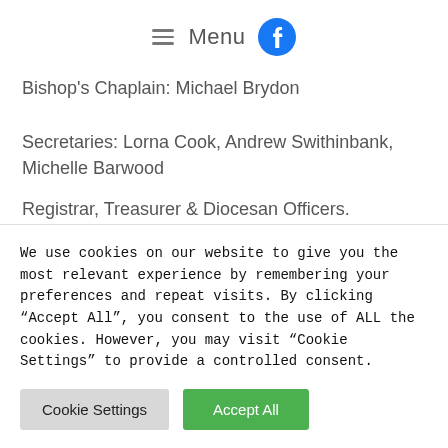☰ Menu
Bishop's Chaplain: Michael Brydon
Secretaries: Lorna Cook, Andrew Swithinbank, Michelle Barwood
Registrar, Treasurer & Diocesan Officers.
The Niocene Coi Ko Le...
We use cookies on our website to give you the most relevant experience by remembering your preferences and repeat visits. By clicking "Accept All", you consent to the use of ALL the cookies. However, you may visit "Cookie Settings" to provide a controlled consent.